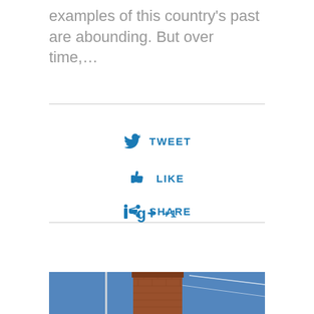examples of this country's past are abounding. But over time,...
TWEET
LIKE
+1
SHARE
[Figure (photo): A brick tower or chimney against a blue sky with contrails]